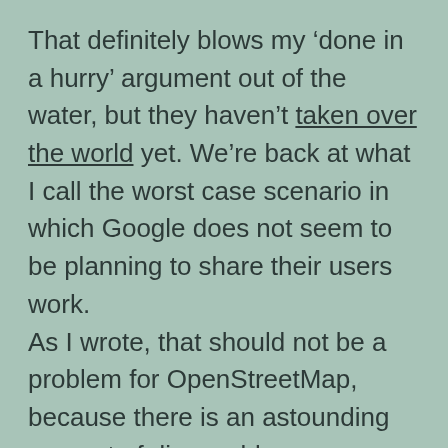That definitely blows my ‘done in a hurry’ argument out of the water, but they haven’t taken over the world yet. We’re back at what I call the worst case scenario in which Google does not seem to be planning to share their users work. As I wrote, that should not be a problem for OpenStreetMap, because there is an astounding amount of disposable man power available on the planet. Apart from that, Google is completely dependent on income from advertisements: Google can not offer any service on a massive